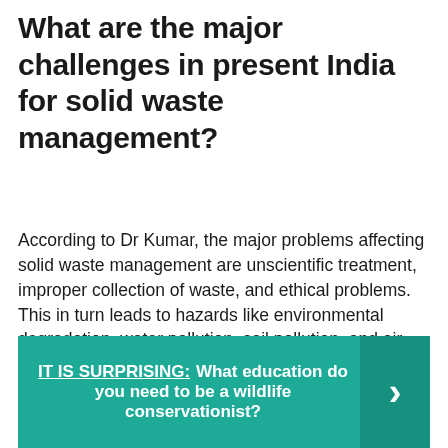What are the major challenges in present India for solid waste management?
According to Dr Kumar, the major problems affecting solid waste management are unscientific treatment, improper collection of waste, and ethical problems. This in turn leads to hazards like environmental degradation, water pollution, soil pollution, and air pollution.
IT IS SURPRISING:  What education do you need to be a wildlife conservationist?